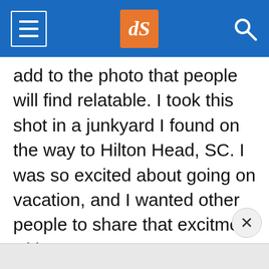dPS navigation header with menu, logo, and search
add to the photo that people will find relatable. I took this shot in a junkyard I found on the way to Hilton Head, SC. I was so excited about going on vacation, and I wanted other people to share that excitment with me.